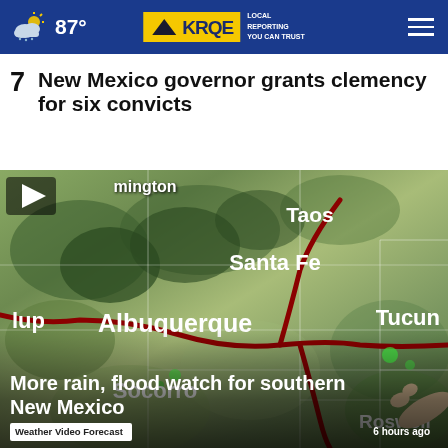87° KRQE LOCAL REPORTING YOU CAN TRUST
7  New Mexico governor grants clemency for six convicts
[Figure (screenshot): Weather forecast video thumbnail showing a satellite map of New Mexico with city labels (Taos, Santa Fe, Albuquerque, Socorro, Roswell, Tucumcari) and a meteorologist's hand pointing at the map. A dark red road/boundary line runs through the state.]
More rain, flood watch for southern New Mexico
Weather Video Forecast
6 hours ago